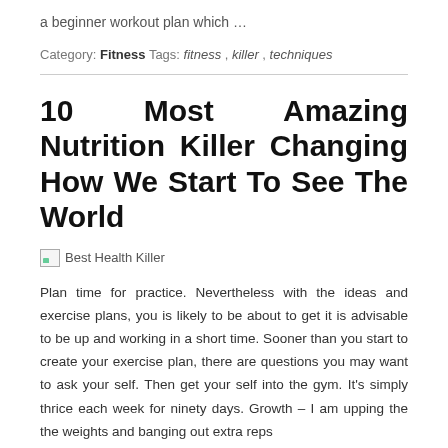a beginner workout plan which …
Category: Fitness Tags: fitness , killer , techniques
10 Most Amazing Nutrition Killer Changing How We Start To See The World
[Figure (illustration): Broken image placeholder with alt text 'Best Health Killer']
Plan time for practice. Nevertheless with the ideas and exercise plans, you is likely to be about to get it is advisable to be up and working in a short time. Sooner than you start to create your exercise plan, there are questions you may want to ask your self. Then get your self into the gym. It's simply thrice each week for ninety days. Growth – I am upping the the weights and banging out extra reps